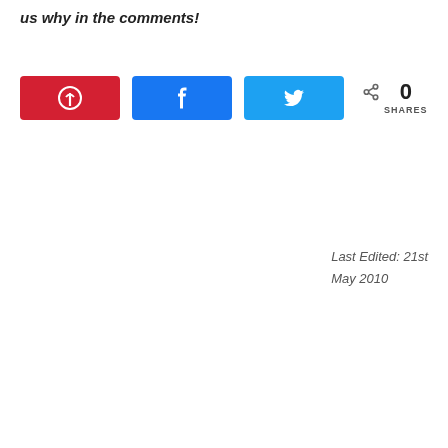us why in the comments!
[Figure (other): Social share buttons row: Pinterest (red), Facebook (blue), Twitter (light blue), and a share count showing 0 SHARES]
Last Edited: 21st May 2010